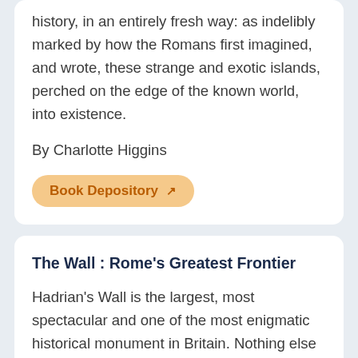history, in an entirely fresh way: as indelibly marked by how the Romans first imagined, and wrote, these strange and exotic islands, perched on the edge of the known world, into existence.
By Charlotte Higgins
Book Depository
The Wall : Rome's Greatest Frontier
Hadrian's Wall is the largest, most spectacular and one of the most enigmatic historical monument in Britain. Nothing else approaches its vast scale: a land wall running 73 miles from east to west and a sea wall stretching at least 26